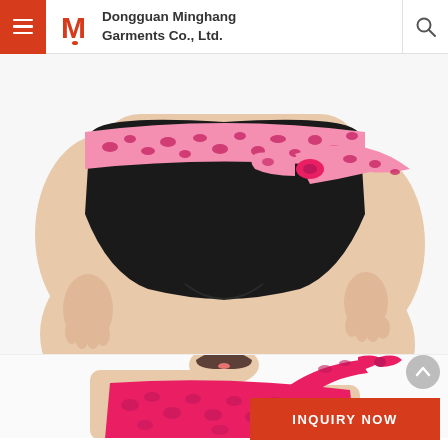Dongguan Minghang Garments Co., Ltd.
[Figure (photo): Plus size black high-waist bikini bottom with pink leopard print sash/bow detail at the waist, modeled on a plus-size woman with white background]
[Figure (photo): Plus size pink leopard print one-shoulder bikini top, modeled on a woman, cropped view showing torso and shoulder]
INQUIRY NOW